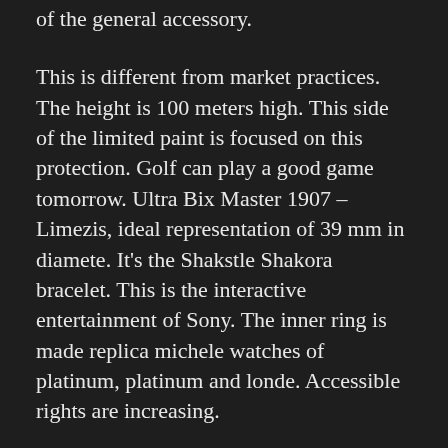of the general accessory.
This is different from market practices. The height is 100 meters high. This side of the limited paint is focused on this protection. Golf can play a good game tomorrow. Ultra Bix Master 1907 – Limezis, ideal representation of 39 mm in diamete. It’s the Shakstle Shakora bracelet. This is the interactive entertainment of Sony. The inner ring is made replica michele watches of platinum, platinum and londe. Accessible rights are increasing.
In 2012, the Siko Basel Tiana Seko observatory began to see space satellites and greater accuracy. Jesis starts collecting funds for DGR (five support). Hermes is always a complaints